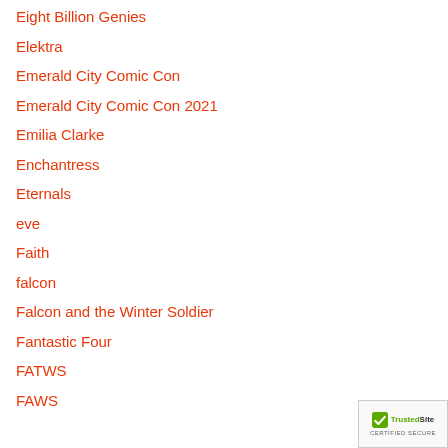Eight Billion Genies
Elektra
Emerald City Comic Con
Emerald City Comic Con 2021
Emilia Clarke
Enchantress
Eternals
eve
Faith
falcon
Falcon and the Winter Soldier
Fantastic Four
FATWS
FAWS
[Figure (logo): TrustedSite Certified Secure badge]